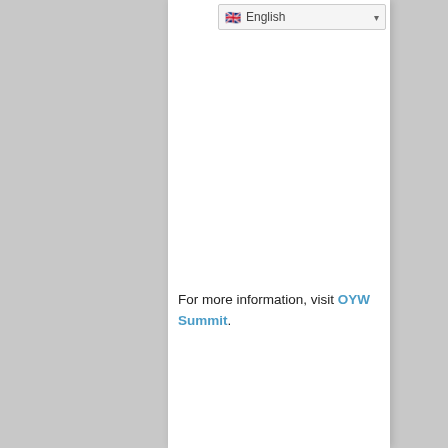English
For more information, visit OYW Summit.